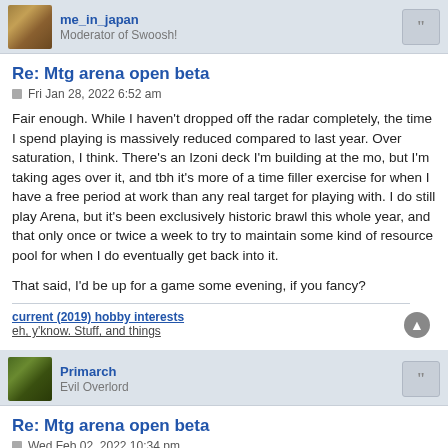me_in_japan
Moderator of Swoosh!
Re: Mtg arena open beta
Fri Jan 28, 2022 6:52 am
Fair enough. While I haven't dropped off the radar completely, the time I spend playing is massively reduced compared to last year. Over saturation, I think. There's an Izoni deck I'm building at the mo, but I'm taking ages over it, and tbh it's more of a time filler exercise for when I have a free period at work than any real target for playing with. I do still play Arena, but it's been exclusively historic brawl this whole year, and that only once or twice a week to try to maintain some kind of resource pool for when I do eventually get back into it.
That said, I'd be up for a game some evening, if you fancy?
current (2019) hobby interests
eh, y'know. Stuff, and things
Primarch
Evil Overlord
Re: Mtg arena open beta
Wed Feb 02, 2022 10:34 pm